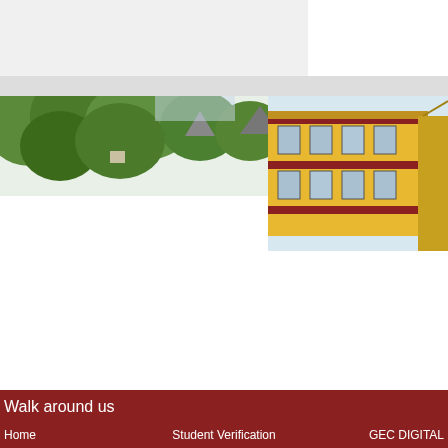[Figure (photo): Top navigation/header bar area - gray background with white box on top right]
[Figure (photo): Photo collage showing green trees on left side and a yellow and red multi-story school building on the right]
Walk around us
Home   Student Verification   GEC DIGITAL